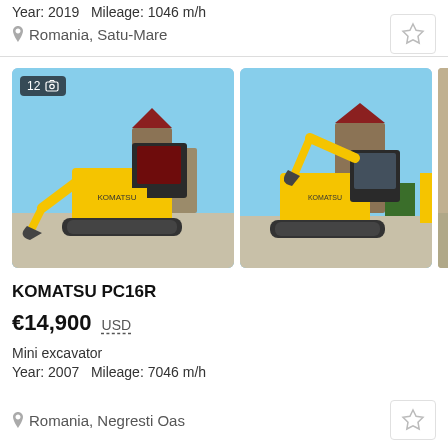Year: 2019   Mileage: 1046 m/h
Romania, Satu-Mare
[Figure (photo): Yellow Komatsu PC16R mini excavator parked on concrete, left-side view, clear blue sky background, photo count badge showing 12]
[Figure (photo): Yellow Komatsu PC16R mini excavator parked on concrete, right-side/front view, clear blue sky background]
KOMATSU PC16R
€14,900  USD
Mini excavator
Year: 2007   Mileage: 7046 m/h
Romania, Negresti Oas